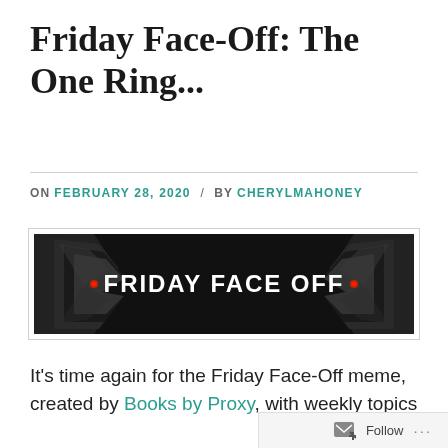Friday Face-Off: The One Ring...
ON FEBRUARY 28, 2020 / BY CHERYLMAHONEY
[Figure (illustration): Friday Face Off banner image with dark background, geometric low-poly shapes resembling dark figures on left and right, and white bold text reading FRIDAY FACE OFF in the center.]
It’s time again for the Friday Face-Off meme, created by Books by Proxy, with weekly topics